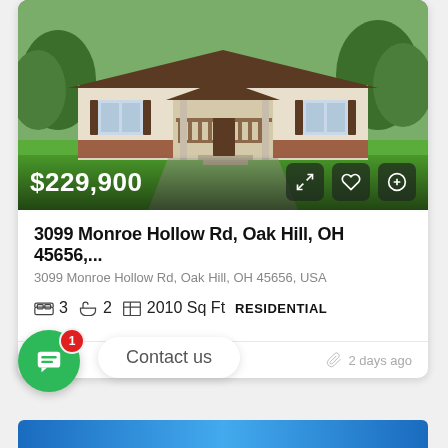[Figure (photo): Exterior photo of a single-story ranch house with a front porch, beige siding, dark brown shutters, and a large green lawn. Surrounded by trees.]
$229,900
3099 Monroe Hollow Rd, Oak Hill, OH 45656,...
3099 Monroe Hollow Rd, Oak Hill, OH 45656, USA
3  2  2010 Sq Ft  RESIDENTIAL
Contact us
2 days ago